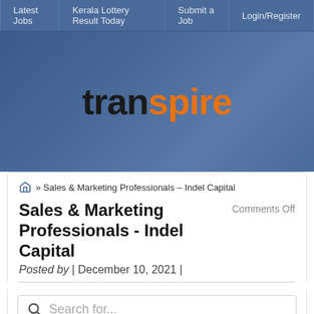Latest Jobs | Kerala Lottery Result Today | Submit a Job | Login/Register
[Figure (logo): Transpire logo — 'tran' in dark/black bold text, 'spire' in orange bold text, on a blue gradient background]
» Sales & Marketing Professionals – Indel Capital
Sales & Marketing Professionals - Indel Capital
Comments Off
Posted by | December 10, 2021 |
Search for...